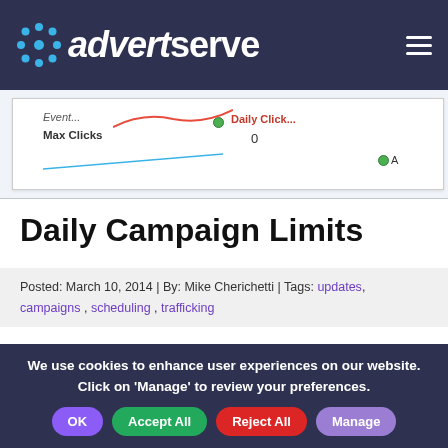[Figure (screenshot): AdvertServe logo and navigation header bar with dark navy background, showing the AdvertServe logo on the left and hamburger menu on the right]
[Figure (screenshot): Partial screenshot of a campaign settings interface showing fields like 'Events', 'Daily Clicks', 'Max Clicks' with value 0 and green indicator dots]
Daily Campaign Limits
Posted: March 10, 2014 | By: Mike Cherichetti | Tags: updates, campaigns, scheduling, trafficking
Introducing Daily Limits Since the debut of AdvertServe it has been possible to set a maximum limit on the total number of views, clicks or actions
We use cookies to enhance user experiences on our website. Click on 'Manage' to review your preferences.